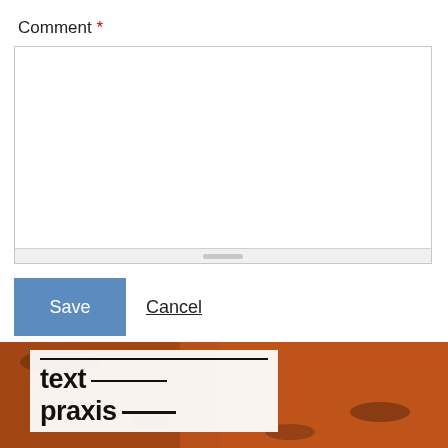Comment *
[Figure (screenshot): Empty text area input field with scrollbar at bottom and resize handle at bottom-right corner]
Save | Cancel
[Figure (photo): Bottom image showing orange-brown textured background (soil/earth) with a white box containing bold text 'text praxis' with horizontal lines]